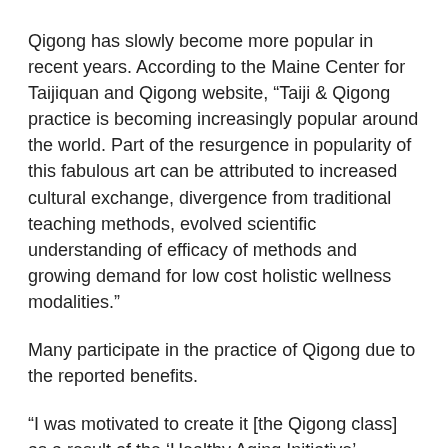Qigong has slowly become more popular in recent years. According to the Maine Center for Taijiquan and Qigong website, “Taiji & Qigong practice is becoming increasingly popular around the world. Part of the resurgence in popularity of this fabulous art can be attributed to increased cultural exchange, divergence from traditional teaching methods, evolved scientific understanding of efficacy of methods and growing demand for low cost holistic wellness modalities.”
Many participate in the practice of Qigong due to the reported benefits.
“I was motivated to create it [the Qigong class] as a result of the ‘Healthy Aging Initiative’ happening here in Raymond,” explained Mary-Therese Duffy, one of the founding members of RHCC. “The research and recommendations regarding Qigong practice and aging is striking.”
Multiple scholarly articles can be found that verifies Duffy’s assertion, including scientific studies from Harvard Medical